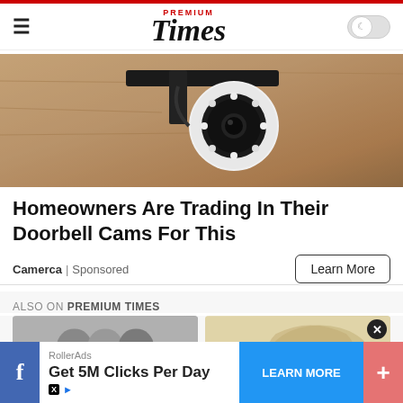Premium Times
[Figure (photo): Security camera mounted on a wall, showing a circular white camera with LED ring lights in a black mount bracket, against a rough stone/concrete wall]
Homeowners Are Trading In Their Doorbell Cams For This
Camerca | Sponsored
ALSO ON PREMIUM TIMES
[Figure (photo): Two article thumbnail images showing related Premium Times content]
[Figure (screenshot): Bottom advertisement bar: RollerAds - Get 5M Clicks Per Day - LEARN MORE button, with Facebook share button on left and plus button on right]